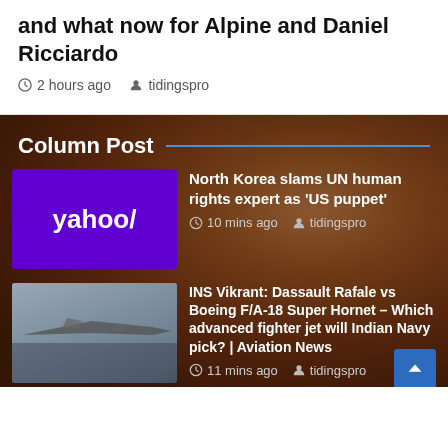and what now for Alpine and Daniel Ricciardo
2 hours ago   tidingspro
Column Post
North Korea slams UN human rights expert as 'US puppet' — 10 mins ago — tidingspro
INS Vikrant: Dassault Rafale vs Boeing F/A-18 Super Hornet – Which advanced fighter jet will Indian Navy pick? | Aviation News — 11 mins ago — tidingspro
Jane Fonda Reveals She Has Cancer – Hollywood Life